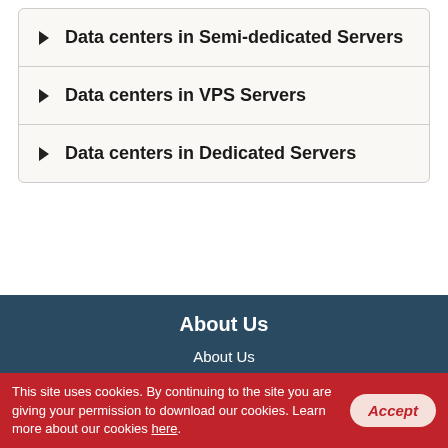Data centers in Semi-dedicated Servers
Data centers in VPS Servers
Data centers in Dedicated Servers
About Us
About Us
Contacts
Why Us
Website Migration
Hosting Platform
Service Guarantees
This site uses cookies. By continuing to the site you are giving your permission to download our cookies. Learn more about our cookies here.